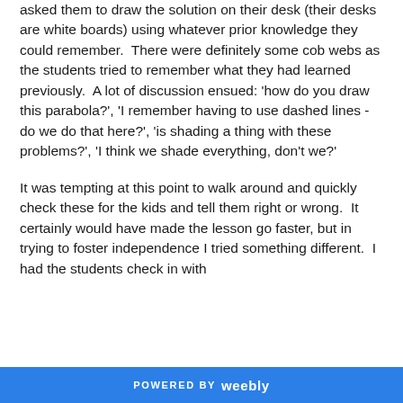asked them to draw the solution on their desk (their desks are white boards) using whatever prior knowledge they could remember.  There were definitely some cob webs as the students tried to remember what they had learned previously.  A lot of discussion ensued: 'how do you draw this parabola?', 'I remember having to use dashed lines - do we do that here?', 'is shading a thing with these problems?', 'I think we shade everything, don't we?'
It was tempting at this point to walk around and quickly check these for the kids and tell them right or wrong.  It certainly would have made the lesson go faster, but in trying to foster independence I tried something different.  I had the students check in with
POWERED BY weebly